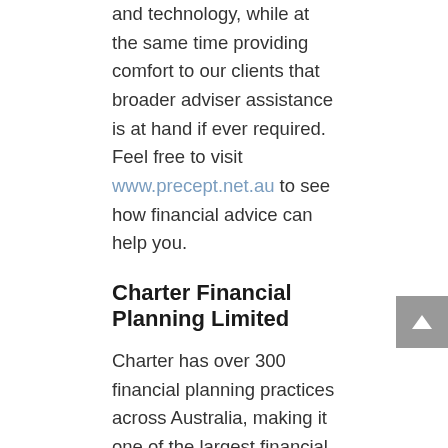and technology, while at the same time providing comfort to our clients that broader adviser assistance is at hand if ever required. Feel free to visit www.precept.net.au to see how financial advice can help you.
Charter Financial Planning Limited
Charter has over 300 financial planning practices across Australia, making it one of the largest financial planning networks. The financial advice businesses licensed by Charter are generally privately owned and locally operated. Charter provides these businesses with back-office support and processes so that they can focus on what's most important to them – improving the lives of their clients. Charter is backed by AMP, one of Australia's oldest and most-trusted financial services companies. Charter advisers provide advice to support your needs and are not restricted to offering